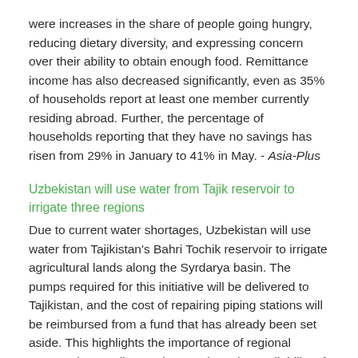were increases in the share of people going hungry, reducing dietary diversity, and expressing concern over their ability to obtain enough food. Remittance income has also decreased significantly, even as 35% of households report at least one member currently residing abroad. Further, the percentage of households reporting that they have no savings has risen from 29% in January to 41% in May. - Asia-Plus
Uzbekistan will use water from Tajik reservoir to irrigate three regions
Due to current water shortages, Uzbekistan will use water from Tajikistan's Bahri Tochik reservoir to irrigate agricultural lands along the Syrdarya basin. The pumps required for this initiative will be delivered to Tajikistan, and the cost of repairing piping stations will be reimbursed from a fund that has already been set aside. This highlights the importance of regional cooperation as climate change alters the availability of resources in the